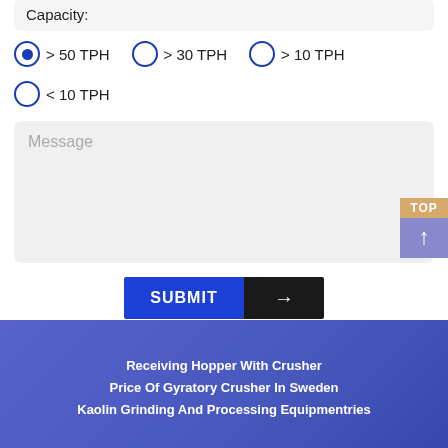Capacity:
> 50 TPH (selected), > 30 TPH, > 10 TPH
< 10 TPH
Message
SUBMIT
TOP
Receiving Hopper With Crusher
Price Of Gyratory Crusher In Sweden
Kaolin Grinding And Processing Equipmentries